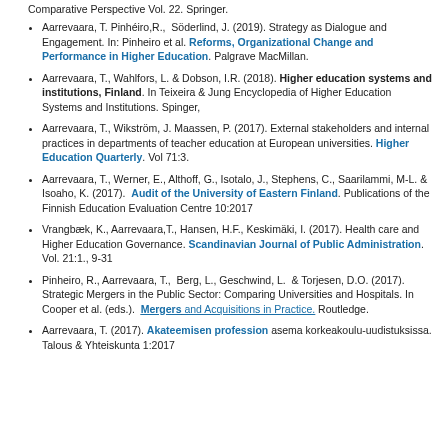Comparative Perspective Vol. 22. Springer.
Aarrevaara, T. Pinhéiro,R.,  Söderlind, J. (2019). Strategy as Dialogue and Engagement. In: Pinheiro et al. Reforms, Organizational Change and Performance in Higher Education. Palgrave MacMillan.
Aarrevaara, T., Wahlfors, L. & Dobson, I.R. (2018). Higher education systems and institutions, Finland. In Teixeira & Jung Encyclopedia of Higher Education Systems and Institutions. Spinger,
Aarrevaara, T., Wikström, J. Maassen, P. (2017). External stakeholders and internal practices in departments of teacher education at European universities. Higher Education Quarterly. Vol 71:3.
Aarrevaara, T., Werner, E., Althoff, G., Isotalo, J., Stephens, C., Saarilammi, M-L. & Isoaho, K. (2017).  Audit of the University of Eastern Finland. Publications of the Finnish Education Evaluation Centre 10:2017
Vrangbæk, K., Aarrevaara,T., Hansen, H.F., Keskimäki, I. (2017). Health care and Higher Education Governance. Scandinavian Journal of Public Administration. Vol. 21:1., 9-31
Pinheiro, R., Aarrevaara, T.,  Berg, L., Geschwind, L.  & Torjesen, D.O. (2017). Strategic Mergers in the Public Sector: Comparing Universities and Hospitals. In Cooper et al. (eds.).  Mergers and Acquisitions in Practice. Routledge.
Aarrevaara, T. (2017). Akateemisen profession asema korkeakoulu-uudistuksissa. Talous & Yhteiskunta 1:2017